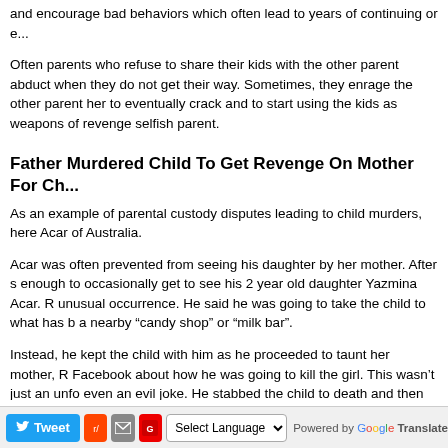and encourage bad behaviors which often lead to years of continuing or e...
Often parents who refuse to share their kids with the other parent abduct... when they do not get their way. Sometimes, they enrage the other parent... her to eventually crack and to start using the kids as weapons of revenge... selfish parent.
Father Murdered Child To Get Revenge On Mother For Ch...
As an example of parental custody disputes leading to child murders, here... Acar of Australia.
Acar was often prevented from seeing his daughter by her mother. After s... enough to occasionally get to see his 2 year old daughter Yazmina Acar. R... unusual occurrence. He said he was going to take the child to what has b... a nearby “candy shop” or “milk bar”.
Instead, he kept the child with him as he proceeded to taunt her mother, R... Facebook about how he was going to kill the girl. This wasn’t just an unfor... even an evil joke. He stabbed the child to death and then continued to wri... he had just done.
Tweet | Reddit | Email | Select Language | Powered by Google Translate